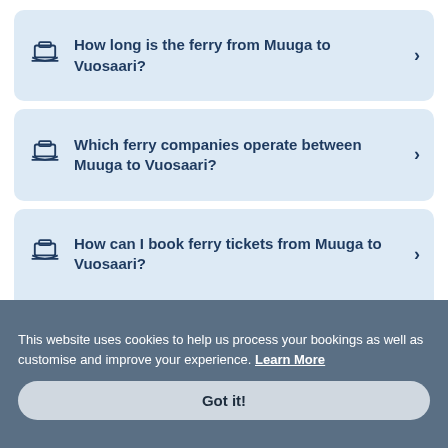How long is the ferry from Muuga to Vuosaari?
Which ferry companies operate between Muuga to Vuosaari?
How can I book ferry tickets from Muuga to Vuosaari?
This website uses cookies to help us process your bookings as well as customise and improve your experience. Learn More
Got it!